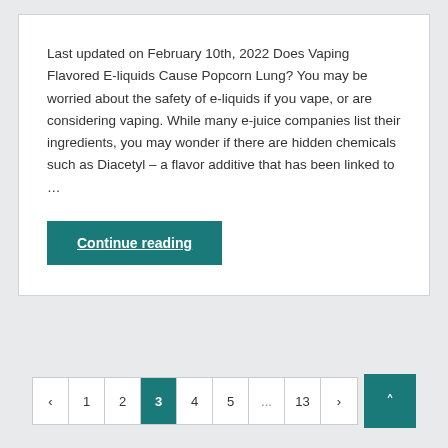Last updated on February 10th, 2022 Does Vaping Flavored E-liquids Cause Popcorn Lung? You may be worried about the safety of e-liquids if you vape, or are considering vaping. While many e-juice companies list their ingredients, you may wonder if there are hidden chemicals such as Diacetyl – a flavor additive that has been linked to …
Continue reading
< 1 2 3 4 5 ... 13 > ▲